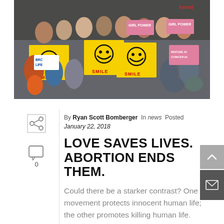[Figure (photo): Group photo of pro-life activists holding yellow smiley face signs reading 'SMILE' and signs reading 'GIRL POWER', gathered indoors for what appears to be a pro-life march or rally.]
By Ryan Scott Bomberger  In news  Posted January 22, 2018
LOVE SAVES LIVES. ABORTION ENDS THEM.
Could there be a starker contrast? One movement protects innocent human life; the other promotes killing human life. One marvels at the biological differences that enable women to conceive and [...]